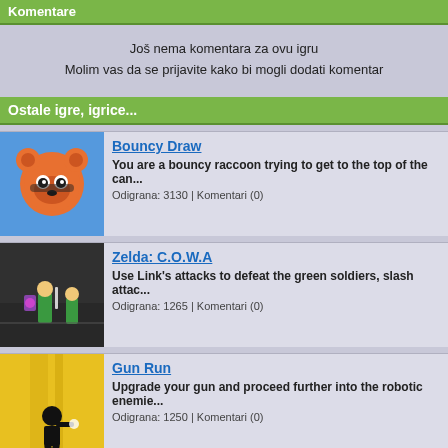Komentare
Još nema komentara za ovu igru
Molim vas da se prijavite kako bi mogli dodati komentar
Ostale igre, igrice...
Bouncy Draw
You are a bouncy raccoon trying to get to the top of the can...
Odigrana: 3130 | Komentari (0)
Zelda: C.O.W.A
Use Link's attacks to defeat the green soldiers, slash attac...
Odigrana: 1265 | Komentari (0)
Gun Run
Upgrade your gun and proceed further into the robotic enemie...
Odigrana: 1250 | Komentari (0)